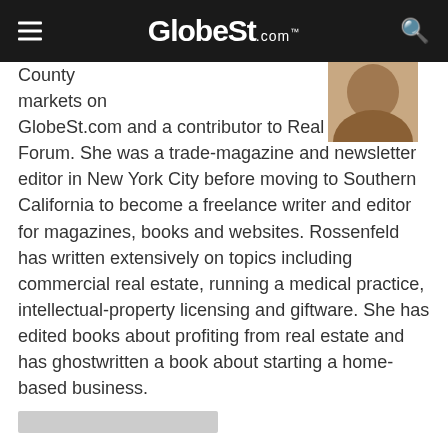GlobeSt.com
County markets on GlobeSt.com and a contributor to Real Estate Forum. She was a trade-magazine and newsletter editor in New York City before moving to Southern California to become a freelance writer and editor for magazines, books and websites. Rossenfeld has written extensively on topics including commercial real estate, running a medical practice, intellectual-property licensing and giftware. She has edited books about profiting from real estate and has ghostwritten a book about starting a home-based business.